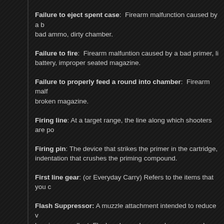Failure to eject spent case: Firearm malfunction caused by a bad ammo, dirty chamber.
Failure to fire: Firearm malfuntion caused by a bad primer, battery, improper seated magazine.
Failure to properly feed a round into chamber: Firearm malfunction caused by broken magazine.
Firing line: At a target range, the line along which shooters are positioned.
Firing pin: The device that strikes the primer in the cartridge, indentation that crushes the priming compound.
First line gear: (or Everyday Carry) Refers to the items that you carry.
Flash Suppressor: A muzzle attachment intended to reduce burning propellant. Flash reducers lessen glare as seen by the shooter and other observers to the front or side of the firearm.
Follow-through: It is maintaining position, aim, breath control.